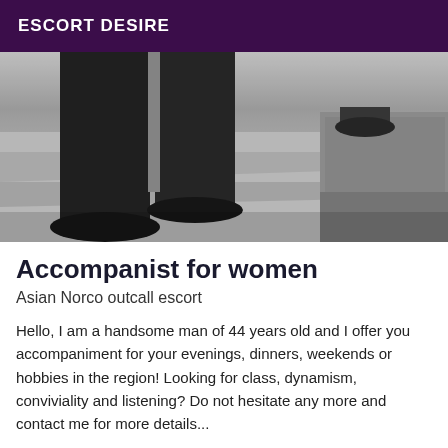ESCORT DESIRE
[Figure (photo): Black and white photo showing the lower body of a person in dark pants and shoes on stairs, with a geometric object visible on the right side]
Accompanist for women
Asian Norco outcall escort
Hello, I am a handsome man of 44 years old and I offer you accompaniment for your evenings, dinners, weekends or hobbies in the region! Looking for class, dynamism, conviviality and listening? Do not hesitate any more and contact me for more details...